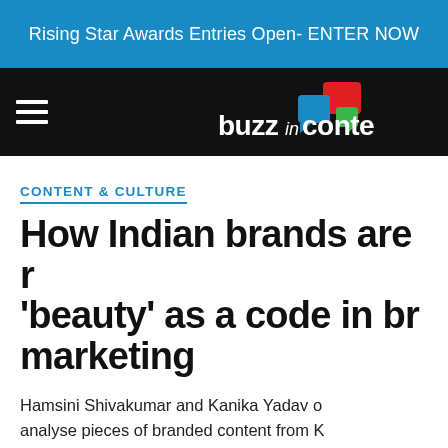Rising Star Awards Entries Open- ENTER NOW
[Figure (logo): BuzzInContent logo with coloured speech bubble icons and white wordmark on black navigation bar]
CONTENT & CULTURE
How Indian brands are redefining 'beauty' as a code in brand marketing
Hamsini Shivakumar and Kanika Yadav of Leapfrog Strategy analyse pieces of branded content from Knack, Dove, among others to find out the latest symb...